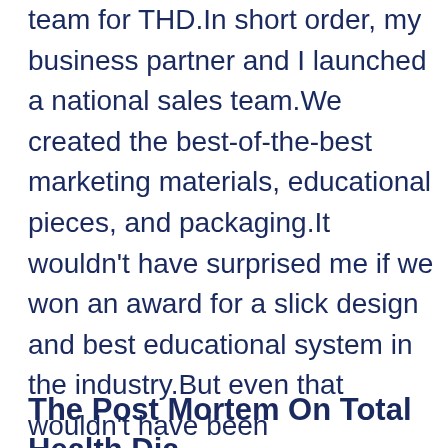team for THD.In short order, my business partner and I launched a national sales team.We created the best-of-the-best marketing materials, educational pieces, and packaging.It wouldn't have surprised me if we won an award for a slick design and best educational system in the industry.But even that wouldn't have been enough.Here's the thing.What do you get when you take greed, no passion, and writing checks because you can, not because you should?A seven-figure loss.THD sold for pennies on the dollar and was a complete bust.But how could this be, you ask?Great question. Let's dive in.
The Post Mortem On Total Health Diabetes